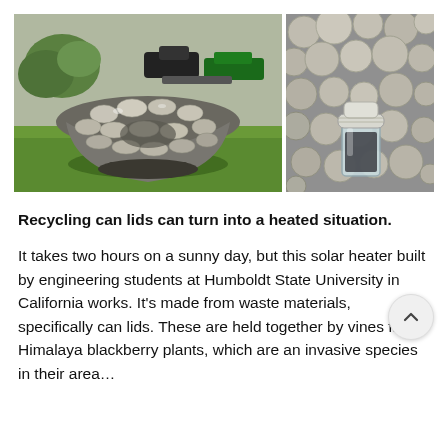[Figure (photo): Two photos side by side: left photo shows a large bowl-shaped solar heater made from can lids sitting on grass with cars and trees in background; right photo shows a close-up of can lids arranged together with a glass jar in the center.]
Recycling can lids can turn into a heated situation.
It takes two hours on a sunny day, but this solar heater built by engineering students at Humboldt State University in California works. It’s made from waste materials, specifically can lids. These are held together by vines from Himalaya blackberry plants, which are an invasive species in their area…